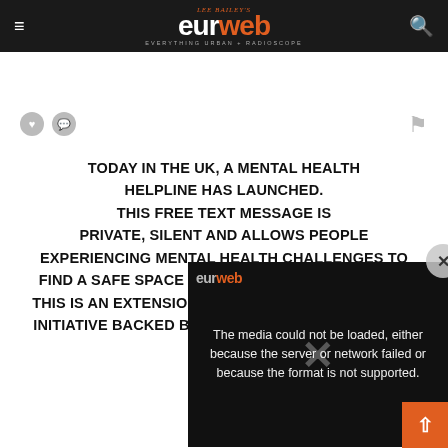LEE BAILEY'S eurweb.com — EVERYTHING URBAN + RADIOSCOPE
[Figure (screenshot): Video player showing error message: The media could not be loaded, either because the server or network failed or because the format is not supported.]
TODAY IN THE UK, A MENTAL HEALTH HELPLINE HAS LAUNCHED. THIS FREE TEXT MESSAGE IS PRIVATE, SILENT AND ALLOWS PEOPLE EXPERIENCING MENTAL HEALTH CHALLENGES TO FIND A SAFE SPACE TO SEEK HELP AND SUPPORT. THIS IS AN EXTENSION OF THE @HEADS_TOGETHER INITIATIVE BACKED BY THE DUKE AND DUCHESS OF